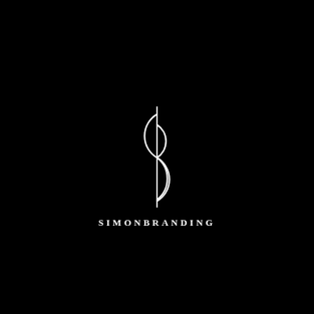[Figure (logo): Simon Branding logo: stylized 'S' and 'b' letterforms made of curved arcs with a vertical dividing line, white on black background, with 'SIMONBRANDING' text below in spaced serif capitals]